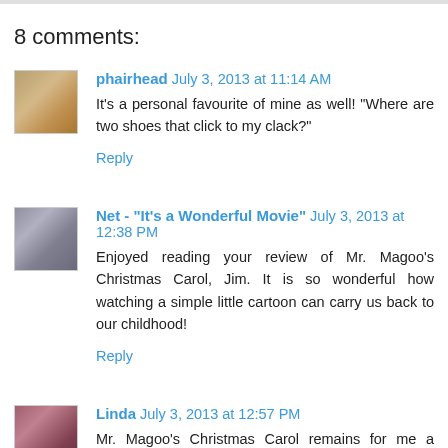8 comments:
phairhead July 3, 2013 at 11:14 AM
It's a personal favourite of mine as well! "Where are two shoes that click to my clack?"
Reply
Net - "It's a Wonderful Movie" July 3, 2013 at 12:38 PM
Enjoyed reading your review of Mr. Magoo's Christmas Carol, Jim. It is so wonderful how watching a simple little cartoon can carry us back to our childhood!
Reply
Linda July 3, 2013 at 12:57 PM
Mr. Magoo's Christmas Carol remains for me a sentimental